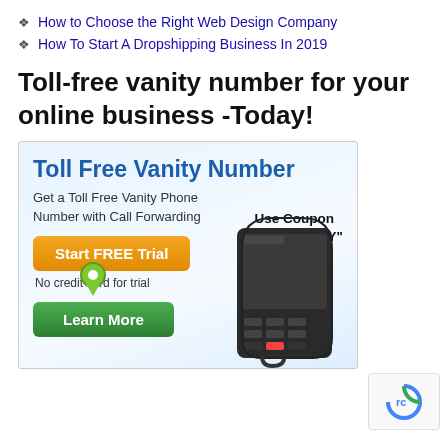How to Choose the Right Web Design Company
How To Start A Dropshipping Business In 2019
Toll-free vanity number for your online business -Today!
[Figure (infographic): Advertisement for Toll Free Vanity Number service. Blue heading 'Toll Free Vanity Number', subtitle 'Get a Toll Free Vanity Phone Number with Call Forwarding', orange 'Start FREE Trial' button, text 'No credit card for trial', coupon code 'Use Coupon "FREEVANITY"', green 'Learn More' button with location pin icon, phone image on right side.]